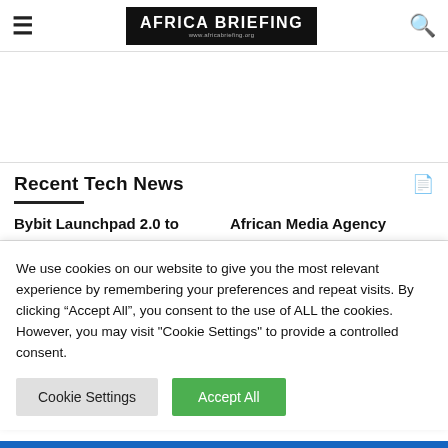AFRICA BRIEFING
[Figure (other): Advertisement area (blank white space)]
Recent Tech News
Bybit Launchpad 2.0 to
African Media Agency
We use cookies on our website to give you the most relevant experience by remembering your preferences and repeat visits. By clicking "Accept All", you consent to the use of ALL the cookies. However, you may visit "Cookie Settings" to provide a controlled consent.
Cookie Settings | Accept All